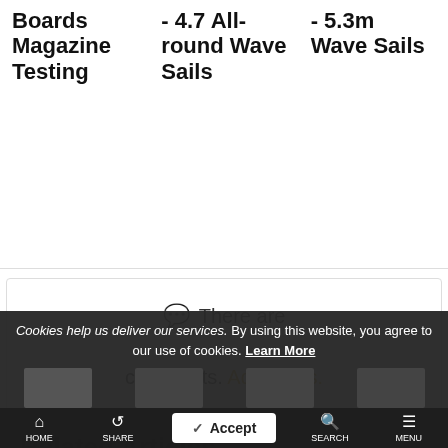Boards Magazine Testing
- 4.7 All-round Wave Sails
- 5.3m Wave Sails
💬 There are comments. Add yours.
Related Articles
Cookies help us deliver our services. By using this website, you agree to our use of cookies. Learn More
HOME SHARE SEARCH MENU